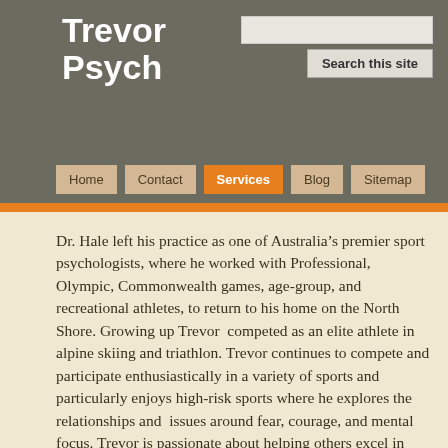Trevor Psych
Search this site
Home | Contact | Services | Blog | Sitemap
Dr. Hale left his practice as one of Australia’s premier sport psychologists, where he worked with Professional, Olympic, Commonwealth games, age-group, and recreational athletes, to return to his home on the North Shore. Growing up Trevor competed as an elite athlete in alpine skiing and triathlon. Trevor continues to compete and participate enthusiastically in a variety of sports and particularly enjoys high-risk sports where he explores the relationships and issues around fear, courage, and mental focus. Trevor is passionate about helping others excel in their chosen activities. His academic career spans Psychology, Human